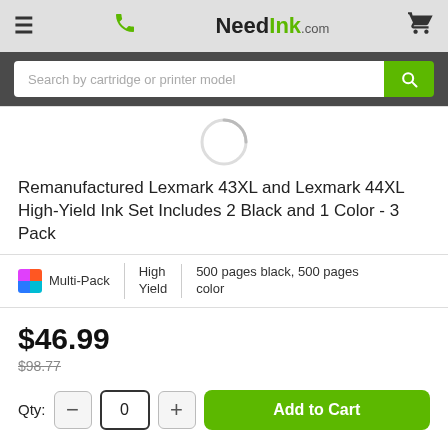NeedInk.com
Search by cartridge or printer model
[Figure (illustration): Loading spinner (gray circular arc, partially visible)]
Remanufactured Lexmark 43XL and Lexmark 44XL High-Yield Ink Set Includes 2 Black and 1 Color - 3 Pack
Multi-Pack | High Yield | 500 pages black, 500 pages color
$46.99
$98.77
Qty: 0  Add to Cart